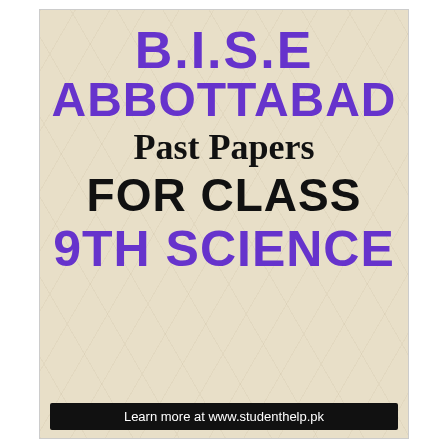B.I.S.E ABBOTTABAD Past Papers FOR CLASS 9TH SCIENCE
Learn more at www.studenthelp.pk